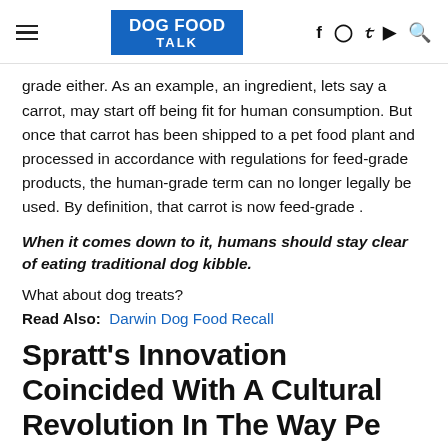DOG FOOD TALK
grade either. As an example, an ingredient, lets say a carrot, may start off being fit for human consumption. But once that carrot has been shipped to a pet food plant and processed in accordance with regulations for feed-grade products, the human-grade term can no longer legally be used. By definition, that carrot is now feed-grade .
When it comes down to it, humans should stay clear of eating traditional dog kibble.
What about dog treats?
Read Also: Darwin Dog Food Recall
Spratt's Innovation Coincided With A Cultural Revolution In The Way People Saw Their Pets